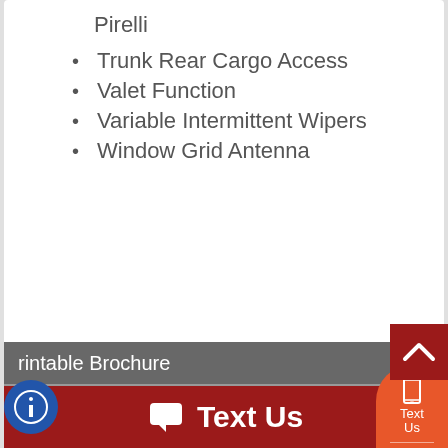Pirelli
Trunk Rear Cargo Access
Valet Function
Variable Intermittent Wipers
Window Grid Antenna
Photos
CarStory®
Send to a friend
Make Offer
Printable Brochure
Text Us